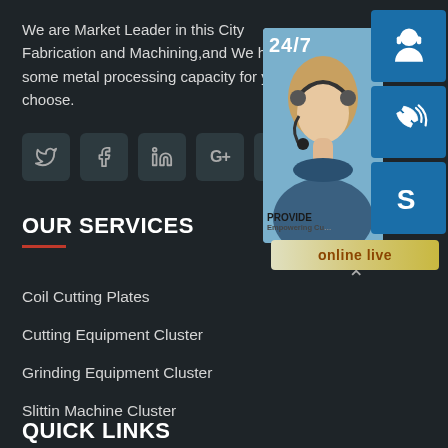We are Market Leader in this City Fabrication and Machining,and We have some metal processing capacity for you to choose.
[Figure (infographic): Social media icon buttons: Twitter, Facebook, LinkedIn, Google+, Pinterest on dark teal rounded square buttons]
OUR SERVICES
Coil Cutting Plates
Cutting Equipment Cluster
Grinding Equipment Cluster
Slittin Machine Cluster
QUICK LINKS
[Figure (infographic): Customer support widget showing a woman with headset, '24/7' text overlay, three blue icon boxes (headset, phone, Skype icons), and an 'online live' golden button at the bottom]